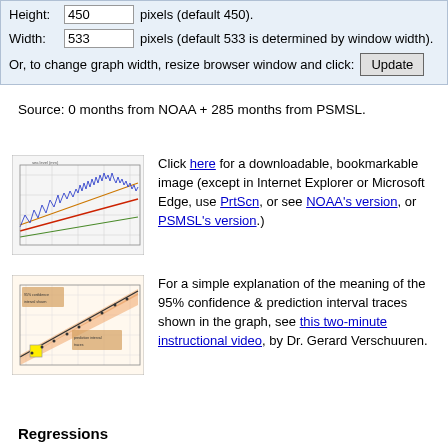Height: 450 pixels (default 450).
Width: 533 pixels (default 533 is determined by window width).
Or, to change graph width, resize browser window and click: [Update]
Source: 0 months from NOAA + 285 months from PSMSL.
[Figure (line-chart): Small thumbnail of a sea level trend graph with colored regression lines (orange, green, red) and a blue wiggly measurement line on a light background with grid lines.]
Click here for a downloadable, bookmarkable image (except in Internet Explorer or Microsoft Edge, use PrtScn, or see NOAA's version, or PSMSL's version.)
[Figure (scatter-plot): Small thumbnail of a regression/confidence interval diagram with orange shaded areas, a yellow highlighted point, and diagonal trend lines on a light background with grid lines.]
For a simple explanation of the meaning of the 95% confidence & prediction interval traces shown in the graph, see this two-minute instructional video, by Dr. Gerard Verschuuren.
Regressions